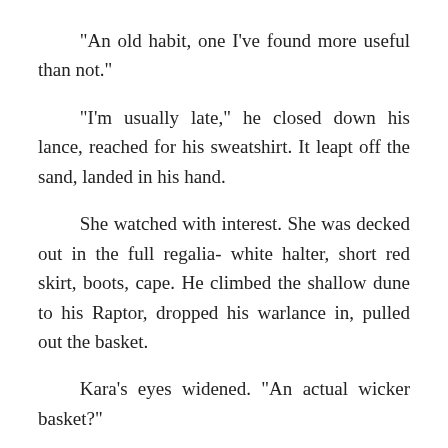"An old habit, one I've found more useful than not."
"I'm usually late," he closed down his lance, reached for his sweatshirt. It leapt off the sand, landed in his hand.
She watched with interest. She was decked out in the full regalia- white halter, short red skirt, boots, cape. He climbed the shallow dune to his Raptor, dropped his warlance in, pulled out the basket.
Kara's eyes widened. "An actual wicker basket?"
"I'm a traditionalist," he fished a large blanket out, and a big umbrella. "Except I don't do checkered blankets."
She followed along after him. He picked a spot not too far from the craft, spread the blanket, set the umbrella against the gentling wind. He let Kara seat herself, sat